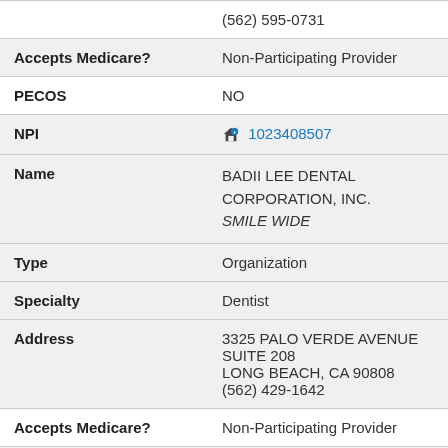| Field | Value |
| --- | --- |
|  | (562) 595-0731 |
| Accepts Medicare? | Non-Participating Provider |
| PECOS | NO |
| NPI | 1023408507 |
| Name | BADII LEE DENTAL CORPORATION, INC. SMILE WIDE |
| Type | Organization |
| Specialty | Dentist |
| Address | 3325 PALO VERDE AVENUE SUITE 208 LONG BEACH, CA 90808 (562) 429-1642 |
| Accepts Medicare? | Non-Participating Provider |
| PECOS | NO |